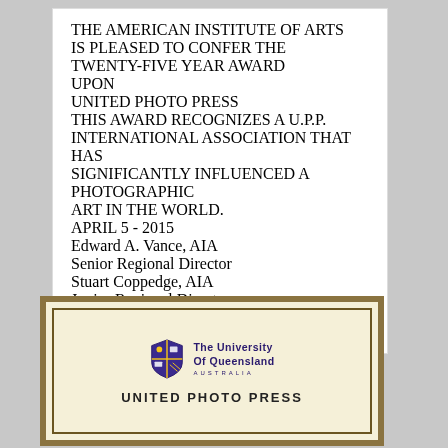[Figure (other): Certificate from The American Institute of Arts conferring the Twenty-Five Year Award upon United Photo Press, dated April 5 - 2015, with three signatories.]
[Figure (other): Certificate from The University of Queensland Australia for United Photo Press, showing the university shield logo.]